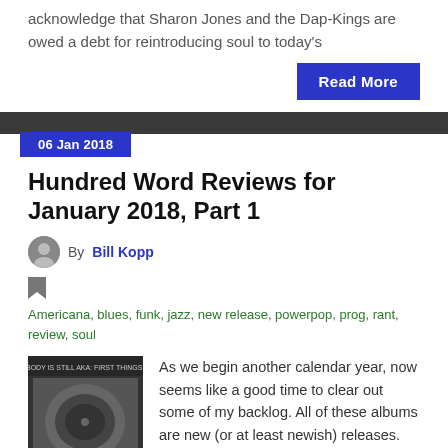acknowledge that Sharon Jones and the Dap-Kings are owed a debt for reintroducing soul to today's
Read More
06 Jan 2018
Hundred Word Reviews for January 2018, Part 1
By Bill Kopp
Americana, blues, funk, jazz, new release, powerpop, prog, rant, review, soul
As we begin another calendar year, now seems like a good time to clear out some of my backlog. All of these albums are new (or at least newish) releases. Paul Moran – Smokin' B3 Vol. 2: Still Smokin' As a lover of soulful organ jazz a la Jimmy Smith, I was taken in by